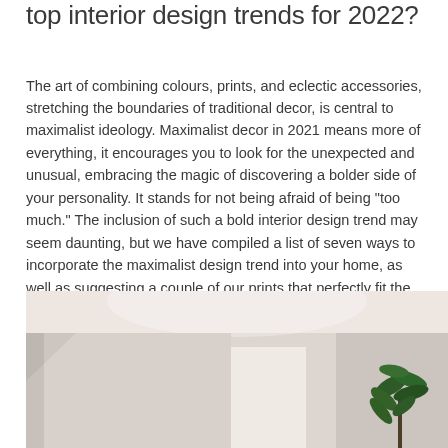top interior design trends for 2022?
The art of combining colours, prints, and eclectic accessories, stretching the boundaries of traditional decor, is central to maximalist ideology. Maximalist decor in 2021 means more of everything, it encourages you to look for the unexpected and unusual, embracing the magic of discovering a bolder side of your personality. It stands for not being afraid of being "too much." The inclusion of such a bold interior design trend may seem daunting, but we have compiled a list of seven ways to incorporate the maximalist design trend into your home, as well as suggesting a couple of our prints that perfectly fit the theme.
[Figure (photo): Interior room photo showing white/beige walls with a green plant in the lower right corner, minimalist room setting]